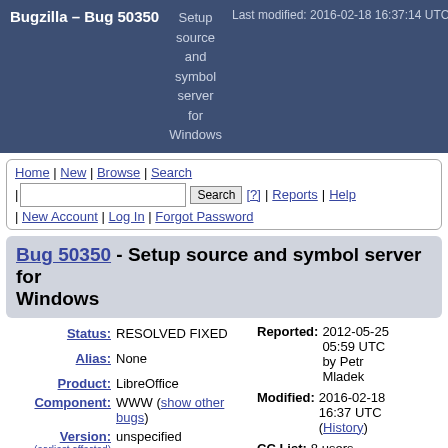Bugzilla – Bug 50350 | Setup source and symbol server for Windows | Last modified: 2016-02-18 16:37:14 UTC
Home | New | Browse | Search | [search box] Search [?] | Reports | Help | New Account | Log In | Forgot Password
Bug 50350 - Setup source and symbol server for Windows
| Field | Value |
| --- | --- |
| Status: | RESOLVED FIXED |
| Alias: | None |
| Product: | LibreOffice |
| Component: | WWW (show other bugs) |
| Version: (earliest affected) | unspecified |
| Hardware: | All Windows (All) |
| Reported: | 2012-05-25 05:59 UTC by Petr Mladek |
| Modified: | 2016-02-18 16:37 UTC (History) |
| CC List: | 8 users (show) |
| See Also: |  |